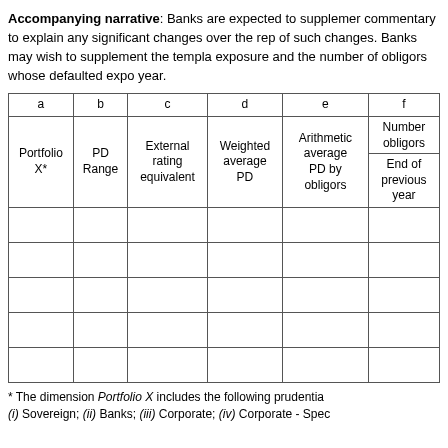Accompanying narrative: Banks are expected to supplement commentary to explain any significant changes over the reporting period of such changes. Banks may wish to supplement the template with exposure and the number of obligors whose defaulted exposures year.
| a | b | c | d | e | f |
| --- | --- | --- | --- | --- | --- |
| Portfolio X* | PD Range | External rating equivalent | Weighted average PD | Arithmetic average PD by obligors | Number obligors / End of previous year |
|  |  |  |  |  |  |
|  |  |  |  |  |  |
|  |  |  |  |  |  |
|  |  |  |  |  |  |
|  |  |  |  |  |  |
* The dimension Portfolio X includes the following prudential
(i) Sovereign; (ii) Banks; (iii) Corporate; (iv) Corporate - Spec